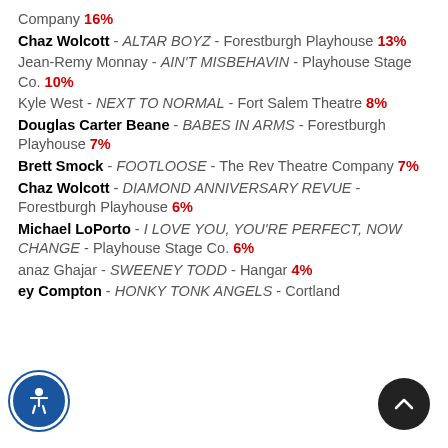Company 16%
Chaz Wolcott - ALTAR BOYZ - Forestburgh Playhouse 13%
Jean-Remy Monnay - AIN'T MISBEHAVIN - Playhouse Stage Co. 10%
Kyle West - NEXT TO NORMAL - Fort Salem Theatre 8%
Douglas Carter Beane - BABES IN ARMS - Forestburgh Playhouse 7%
Brett Smock - FOOTLOOSE - The Rev Theatre Company 7%
Chaz Wolcott - DIAMOND ANNIVERSARY REVUE - Forestburgh Playhouse 6%
Michael LoPorto - I LOVE YOU, YOU'RE PERFECT, NOW CHANGE - Playhouse Stage Co. 6%
anaz Ghajar - SWEENEY TODD - Hangar 4%
ey Compton - HONKY TONK ANGELS - Cortland